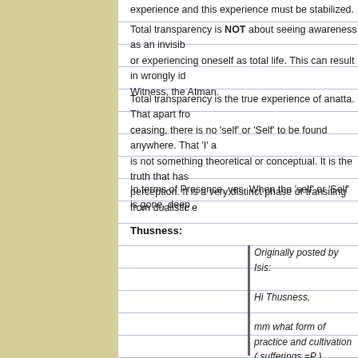experience and this experience must be stabilized.
Total transparency is NOT about seeing awareness as an invisible... or experiencing oneself as total life. This can result in wrongly id... Witness, the Atman.
Total transparency is the true experience of anatta. That apart fro... ceasing, there is no 'self' or 'Self' to be found anywhere. That 'I' a... is not something theoretical or conceptual. It is the truth that has... perception. It is a very distinct phase of transiting from dualistic e...
In terms of Presence, yes. When the 'self' or 'Self' is gone, deep...
Thusness:
Originally posted by Isis:
Hi Thusness,
mm what form of practice and cultivation ( sufferings =P ) this? hehe
I could say it takes one to walk the path to truly understand...